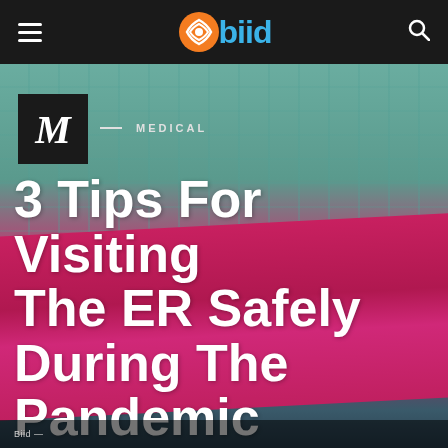obiid — navigation header with hamburger menu and search icon
[Figure (photo): Hospital emergency department building exterior with glass panel facade and red signage reading 'Emergency Department', overlaid with article headline text]
M — MEDICAL
3 Tips For Visiting The ER Safely During The Pandemic